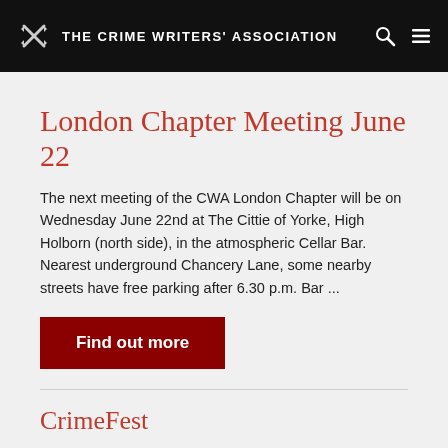THE CRIME WRITERS' ASSOCIATION
London Chapter Meeting June 22
The next meeting of the CWA London Chapter will be on Wednesday June 22nd at The Cittie of Yorke, High Holborn (north side), in the atmospheric Cellar Bar. Nearest underground Chancery Lane, some nearby streets have free parking after 6.30 p.m. Bar ...
Find out more
CrimeFest
CrimeFest, a veritable smorgasbord of who's who in crime writing, is a four-day-long festival held in Bristol May 19-22. For details please see the CrimeFest website. There's a mindblowing programme and all for a very reasonable fee. The CWA will b...